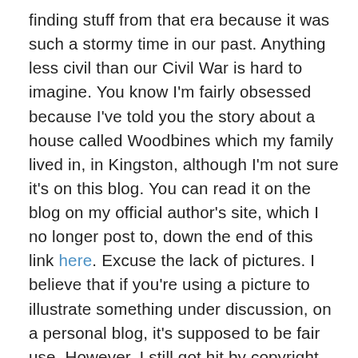finding stuff from that era because it was such a stormy time in our past. Anything less civil than our Civil War is hard to imagine. You know I'm fairly obsessed because I've told you the story about a house called Woodbines which my family lived in, in Kingston, although I'm not sure it's on this blog. You can read it on the blog on my official author's site, which I no longer post to, down the end of this link here. Excuse the lack of pictures. I believe that if you're using a picture to illustrate something under discussion, on a personal blog, it's supposed to be fair use. However, I still got hit by copyright trolls. I don't want to risk a huge bill, but also I don't want to inadvertently pirate photos. I thought it was clear cut but it seems not. Hence, I've removed the three pictures I, personally, haven't taken from all my blogs and two of them were on that post.